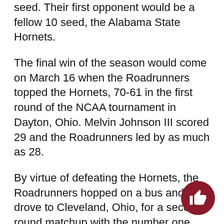seed. Their first opponent would be a fellow 10 seed, the Alabama State Hornets.
The final win of the season would come on March 16 when the Roadrunners topped the Hornets, 70-61 in the first round of the NCAA tournament in Dayton, Ohio. Melvin Johnson III scored 29 and the Roadrunners led by as much as 28.
By virtue of defeating the Hornets, the Roadrunners hopped on a bus and drove to Cleveland, Ohio, for a second round matchup with the number one overall seed Ohio State.
The Roadrunners took an early lead, but the Buckeyes were too big, too fast and too deep for UTSA.